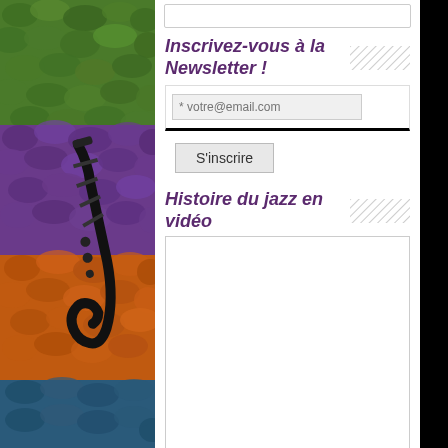[Figure (illustration): Colorful decorative left strip showing abstract snake/reptile skin texture with green, purple, orange tones and a saxophone instrument overlay]
Inscrivez-vous à la Newsletter !
* votre@email.com
S'inscrire
Histoire du jazz en vidéo
[Figure (other): Empty white video embed box]